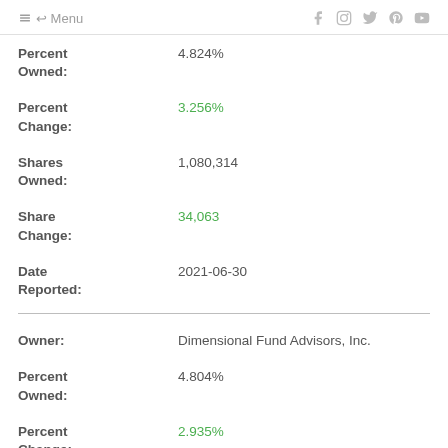Menu
Percent Owned: 4.824%
Percent Change: 3.256%
Shares Owned: 1,080,314
Share Change: 34,063
Date Reported: 2021-06-30
Owner: Dimensional Fund Advisors, Inc.
Percent Owned: 4.804%
Percent Change: 2.935%